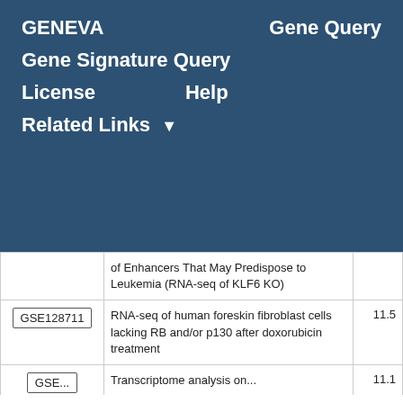GENEVA   Gene Query
Gene Signature Query
License   Help
Related Links ▼
| GSE ID | Description | Score |
| --- | --- | --- |
|  | of Enhancers That May Predispose to Leukemia (RNA-seq of KLF6 KO) |  |
| GSE128711 | RNA-seq of human foreskin fibroblast cells lacking RB and/or p130 after doxorubicin treatment | 11.5 |
| GSE... | Transcriptome analysis on... | 11.1 |